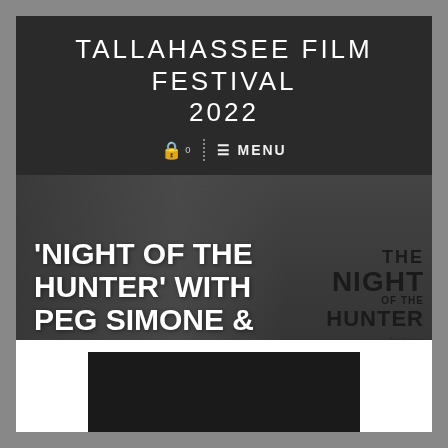TALLAHASSEE FILM FESTIVAL 2022
[Figure (photo): Black and white photo of a woman performing at a microphone, with album cover graphic for 'The Night of the Hunter featuring Peg Simone' overlaid on the right side.]
'NIGHT OF THE HUNTER' WITH PEG SIMONE & LINDA HALL
[Figure (screenshot): Bottom portion showing a white background with the top of a video thumbnail (dark/black) partially visible at the bottom of the page.]